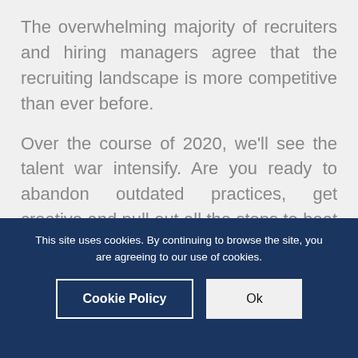The overwhelming majority of recruiters and hiring managers agree that the recruiting landscape is more competitive than ever before.
Over the course of 2020, we'll see the talent war intensify. Are you ready to abandon outdated practices, get creative and pull out all the stops to beat your competition to the best talent?
This site uses cookies. By continuing to browse the site, you are agreeing to our use of cookies.